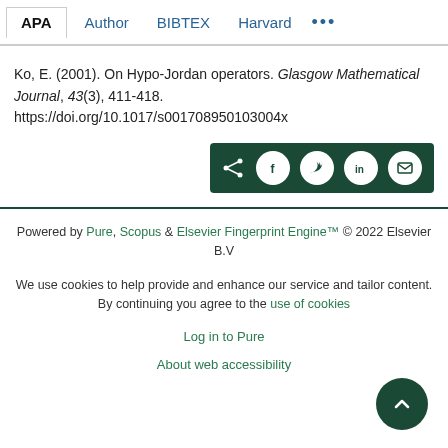APA  Author  BIBTEX  Harvard  ...
Ko, E. (2001). On Hypo-Jordan operators. Glasgow Mathematical Journal, 43(3), 411-418. https://doi.org/10.1017/s001708950103004x
Powered by Pure, Scopus & Elsevier Fingerprint Engine™ © 2022 Elsevier B.V
We use cookies to help provide and enhance our service and tailor content. By continuing you agree to the use of cookies
Log in to Pure
About web accessibility